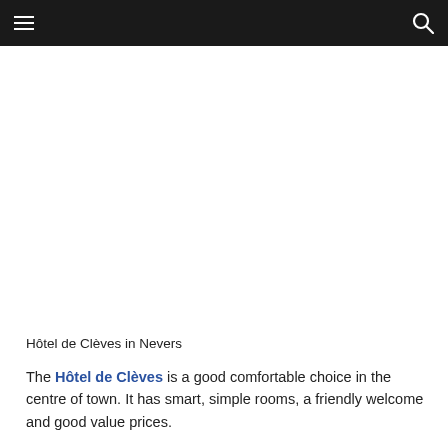≡  🔍
[Figure (photo): White/blank image area below the navigation bar]
Hôtel de Clèves in Nevers
The Hôtel de Clèves is a good comfortable choice in the centre of town. It has smart, simple rooms, a friendly welcome and good value prices.